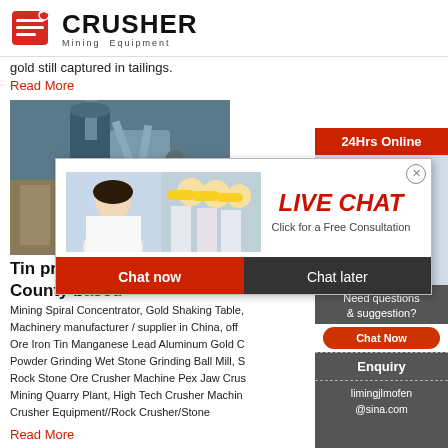CRUSHER Mining Equipment
gold still captured in tailings.
Read More
[Figure (photo): Industrial mining facility with large cylindrical equipment, pipes and metal structures]
Tin proc... County b...
Mining Spiral Concentrator, Gold Shaking Table, Machinery manufacturer / supplier in China, off Ore Iron Tin Manganese Lead Aluminum Gold C... Powder Grinding Wet Stone Grinding Ball Mill, S... Rock Stone Ore Crusher Machine Pex Jaw Crus... Mining Quarry Plant, High Tech Crusher Machin... Crusher Equipment//Rock Crusher/Stone
Read More
[Figure (screenshot): Live Chat popup overlay with workers in hard hats, LIVE CHAT title in red, Chat now and Chat later buttons]
[Figure (photo): Customer service agent with headset, 24Hrs Online banner, Need questions & suggestion panel, Chat Now button, Enquiry link, limingjlmofen@sina.com email]